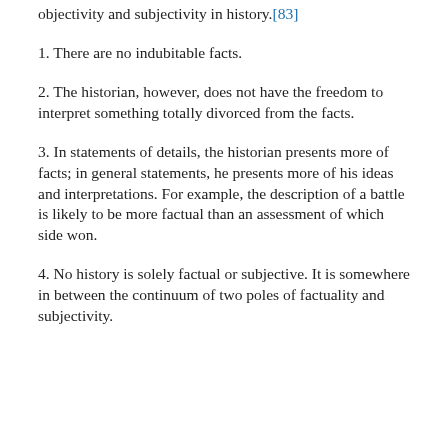objectivity and subjectivity in history.[83]
1. There are no indubitable facts.
2. The historian, however, does not have the freedom to interpret something totally divorced from the facts.
3. In statements of details, the historian presents more of facts; in general statements, he presents more of his ideas and interpretations. For example, the description of a battle is likely to be more factual than an assessment of which side won.
4. No history is solely factual or subjective. It is somewhere in between the continuum of two poles of factuality and subjectivity.